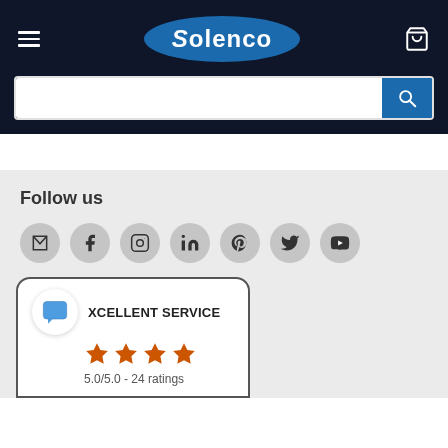[Figure (screenshot): Solenco website header with dark navy background, hamburger menu, oval blue Solenco logo, cart icon, and search bar with blue search button]
Follow us
[Figure (infographic): Social media icons: email, Facebook, Instagram, LinkedIn, Pinterest, Twitter, YouTube — each in a grey circle]
[Figure (infographic): Review card showing EXCELLENT SERVICE with 5 orange stars and rating 5.0/5.0 - 24 ratings, with a blue chat icon]